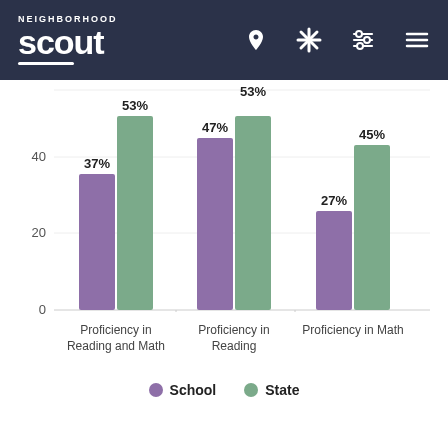Neighborhood Scout
[Figure (grouped-bar-chart): School Proficiency Comparison]